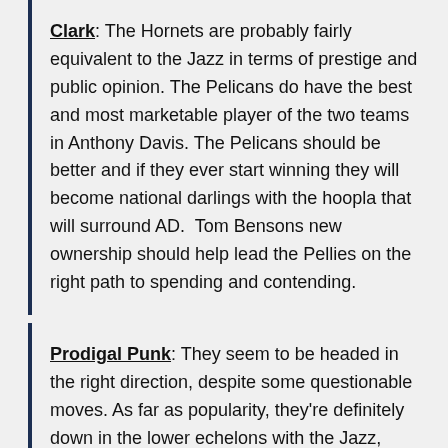Clark: The Hornets are probably fairly equivalent to the Jazz in terms of prestige and public opinion. The Pelicans do have the best and most marketable player of the two teams in Anthony Davis. The Pelicans should be better and if they ever start winning they will become national darlings with the hoopla that will surround AD.  Tom Bensons new ownership should help lead the Pellies on the right path to spending and contending.
Prodigal Punk: They seem to be headed in the right direction, despite some questionable moves. As far as popularity, they're definitely down in the lower echelons with the Jazz, though you have to expect that to change next year as they get healthy and more competitive.